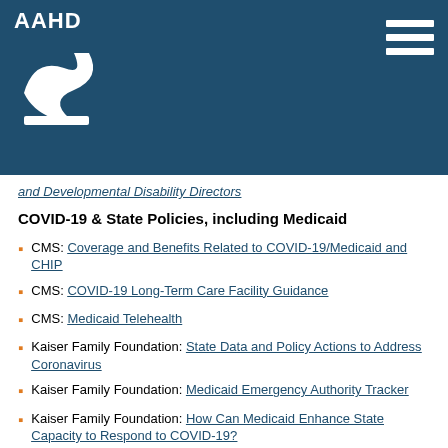[Figure (logo): AAHD logo with white text and stylized swoosh icon on dark teal/navy background, with hamburger menu icon top right]
and Developmental Disability Directors
COVID-19 & State Policies, including Medicaid
CMS: Coverage and Benefits Related to COVID-19/Medicaid and CHIP
CMS: COVID-19 Long-Term Care Facility Guidance
CMS: Medicaid Telehealth
Kaiser Family Foundation: State Data and Policy Actions to Address Coronavirus
Kaiser Family Foundation: Medicaid Emergency Authority Tracker
Kaiser Family Foundation: How Can Medicaid Enhance State Capacity to Respond to COVID-19?